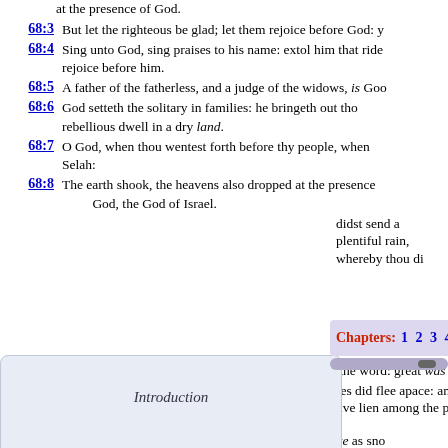at the presence of God.
68:3 But let the righteous be glad; let them rejoice before God: y
68:4 Sing unto God, sing praises to his name: extol him that ride... rejoice before him.
68:5 A father of the fatherless, and a judge of the widows, is God
68:6 God setteth the solitary in families: he bringeth out tho... rebellious dwell in a dry land.
68:7 O God, when thou wentest forth before thy people, when... Selah:
68:8 The earth shook, the heavens also dropped at the presence... God, the God of Israel.
didst send a plentiful rain, whereby thou di
Introduction
Old Testament
New Testament
Chapters: 1 2 3 4 5 6 7 8 9 10 11
e the word: great was the company of those th
nies did flee apace: and she that tarried at home
have lien among the pots, yet shall ye be as the
her feathers with yellow gold.
68:14 When the Almighty scattered kings in it, it was white as sno
68:15 The hill of God is as the hill of Bashan; an high hill as the h
68:16 Why leap ye, ye high hills? this is the hill which God desi... in it for ever.
68:17 The chariots of God are twenty thousand, even thousands... Sinai, in the holy place.